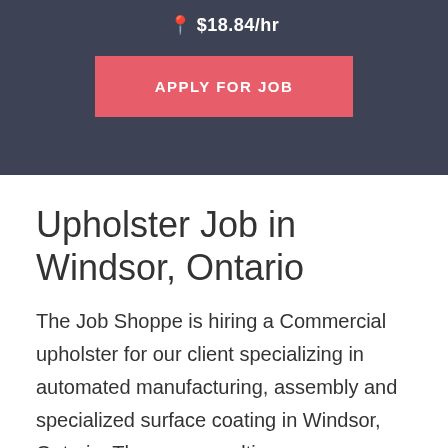$18.84/hr
APPLY FOR JOB
Upholster Job in Windsor, Ontario
The Job Shoppe is hiring a Commercial upholster for our client specializing in automated manufacturing, assembly and specialized surface coating in Windsor, Ontario. They are a multi-